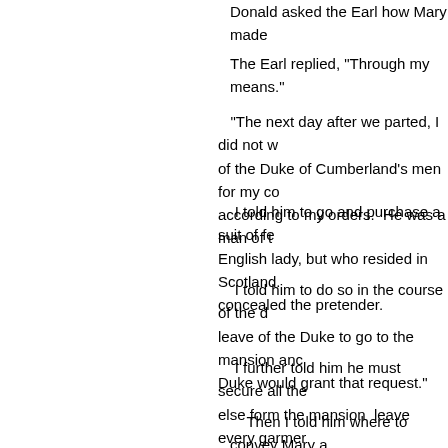Donald asked the Earl how Mary made
The Earl replied, "Through my means."
"The next day after we parted, I did not w of the Duke of Cumberland's men for my co according to my orders.  He was a man of t
I told him to go and purchase a suit of fe English lady, but who resided in  Scotland. concealed the pretender.
I told him to do so in the course of the d leave of the Duke to go to the mansion anc Duke would grant that request."
I further told him he must secure all the else form the mansion  leave every garmer
Then I told him where to convey Mary a
He did all according to my orders, and th he must return to the mansion and kill your blood and would show it to the Duke.  'He w child.'
When I arrived in England, my stay was
No one knew who Mary was, but everyc